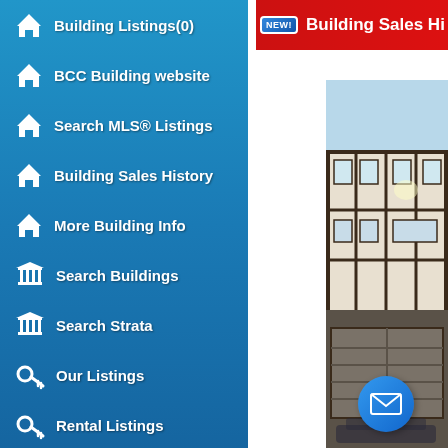Building Listings(0)
BCC Building website
Search MLS® Listings
Building Sales History
More Building Info
Search Buildings
Search Strata
Our Listings
Rental Listings
Map View
Open Houses
Strata Information
NEW! Building Sales Hi...
[Figure (photo): Exterior photo of a multi-storey residential building (Tudor-style) with garage, shown from street level]